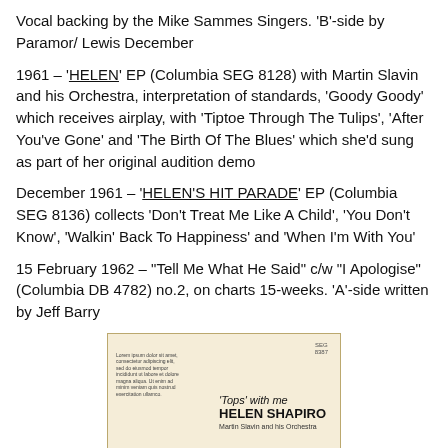Vocal backing by the Mike Sammes Singers. 'B'-side by Paramor/ Lewis December
1961 – 'HELEN' EP (Columbia SEG 8128) with Martin Slavin and his Orchestra, interpretation of standards, 'Goody Goody' which receives airplay, with 'Tiptoe Through The Tulips', 'After You've Gone' and 'The Birth Of The Blues' which she'd sung as part of her original audition demo
December 1961 – 'HELEN'S HIT PARADE' EP (Columbia SEG 8136) collects 'Don't Treat Me Like A Child', 'You Don't Know', 'Walkin' Back To Happiness' and 'When I'm With You'
15 February 1962 – "Tell Me What He Said" c/w "I Apologise" (Columbia DB 4782) no.2, on charts 15-weeks. 'A'-side written by Jeff Barry
[Figure (photo): Album cover or record sleeve for 'Tops with me – Helen Shapiro', featuring Martin Slavin and his Orchestra. Cream/beige background with bold text.]